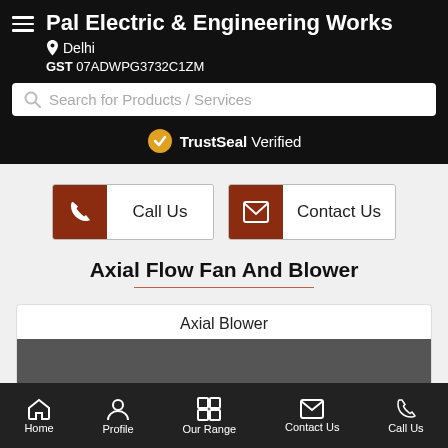Pal Electric & Engineering Works
Delhi
GST 07ADWPG3732C1ZM
Search for Products / Services
TrustSeal Verified
Call Us
Contact Us
Axial Flow Fan And Blower
Axial Blower
Home  Profile  Our Range  Contact Us  Call Us